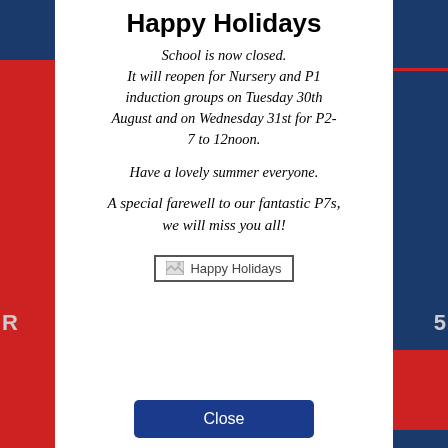Happy Holidays
School is now closed. It will reopen for Nursery and P1 induction groups on Tuesday 30th August and on Wednesday 31st for P2-7 to 12noon.
Have a lovely summer everyone.
A special farewell to our fantastic P7s, we will miss you all!
[Figure (illustration): Broken image placeholder labeled 'Happy Holidays']